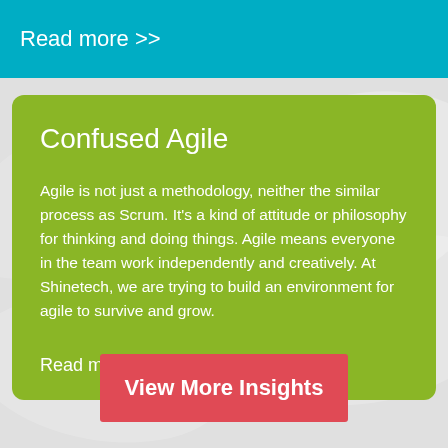Read more >>
Confused Agile
Agile is not just a methodology, neither the similar process as Scrum. It's a kind of attitude or philosophy for thinking and doing things. Agile means everyone in the team work independently and creatively. At Shinetech, we are trying to build an environment for agile to survive and grow.
Read more >>
View More Insights